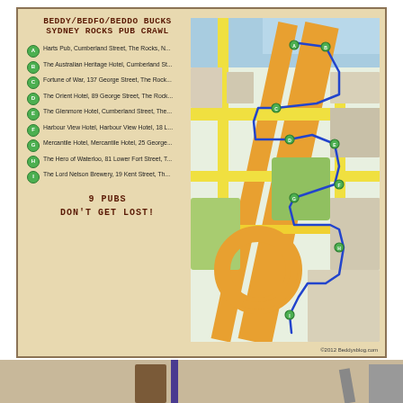Beddy/Bedfo/Beddo Bucks Sydney Rocks Pub Crawl
A - Harts Pub, Cumberland Street, The Rocks, N...
B - The Australian Heritage Hotel, Cumberland St...
C - Fortune of War, 137 George Street, The Rock...
D - The Orient Hotel, 89 George Street, The Rock...
E - The Glenmore Hotel, Cumberland Street, The...
F - Harbour View Hotel, Harbour View Hotel, 18 L...
G - Mercantile Hotel, Mercantile Hotel, 25 George...
H - The Hero of Waterloo, 81 Lower Fort Street, T...
I - The Lord Nelson Brewery, 19 Kent Street, Th...
9 Pubs
Don't Get Lost!
[Figure (map): Street map of The Rocks, Sydney showing a pub crawl route marked with blue lines connecting green numbered pins. Major roads shown in yellow and orange. Area includes harbour, park areas and city streets.]
©2012 Beddysblog.com
Our pub crawl route, we covered off the BEST pubs of the Rocks!
[Figure (photo): Partial view of a photo at bottom of page, appears to show people or objects, partially cut off.]